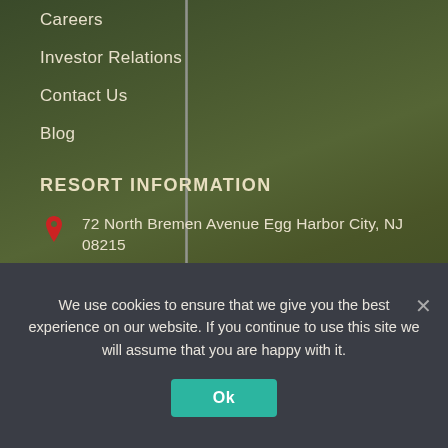Careers
Investor Relations
Contact Us
Blog
RESORT INFORMATION
72 North Bremen Avenue Egg Harbor City, NJ 08215
(609) 965 2111
info@renaultwinery.com
FOLLOW US
We use cookies to ensure that we give you the best experience on our website. If you continue to use this site we will assume that you are happy with it.